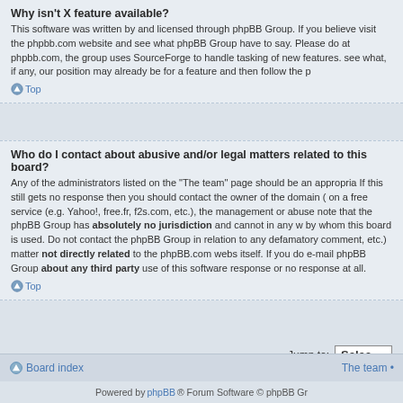Why isn't X feature available?
This software was written by and licensed through phpBB Group. If you believe visit the phpbb.com website and see what phpBB Group have to say. Please do at phpbb.com, the group uses SourceForge to handle tasking of new features. see what, if any, our position may already be for a feature and then follow the p
Top
Who do I contact about abusive and/or legal matters related to this board?
Any of the administrators listed on the “The team” page should be an appropria If this still gets no response then you should contact the owner of the domain ( on a free service (e.g. Yahoo!, free.fr, f2s.com, etc.), the management or abuse note that the phpBB Group has absolutely no jurisdiction and cannot in any w by whom this board is used. Do not contact the phpBB Group in relation to any defamatory comment, etc.) matter not directly related to the phpBB.com webs itself. If you do e-mail phpBB Group about any third party use of this software response or no response at all.
Top
Jump to:  Select
Board index  The team •
Powered by phpBB® Forum Software © phpBB Gr